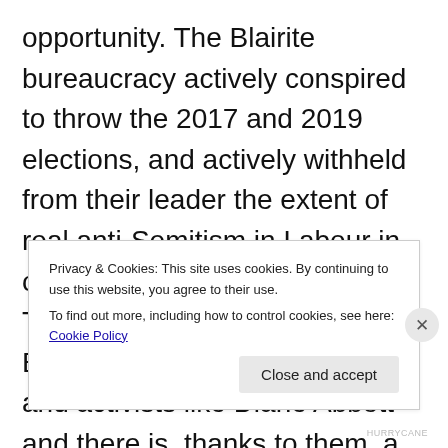opportunity. The Blairite bureaucracy actively conspired to throw the 2017 and 2019 elections, and actively withheld from their leader the extent of real anti-Semitism in Labour in order to further blacken him. They also bullied and abused Black and ethnic minority MPs and activists like Diane Abbott and there is, thanks to them, a rise in Islamophobia in the party.
Privacy & Cookies: This site uses cookies. By continuing to use this website, you agree to their use. To find out more, including how to control cookies, see here: Cookie Policy
HURRYCANE